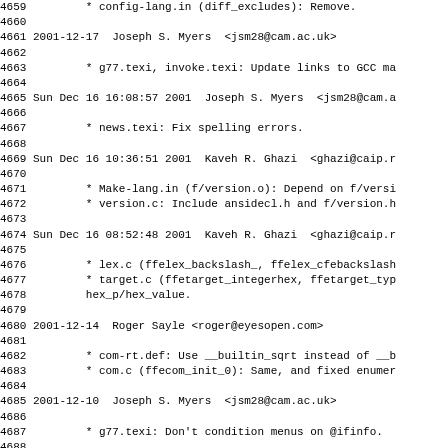4659         * config-lang.in (diff_excludes): Remove.
4660
4661 2001-12-17  Joseph S. Myers  <jsm28@cam.ac.uk>
4662
4663         * g77.texi, invoke.texi: Update links to GCC ma
4664
4665 Sun Dec 16 16:08:57 2001  Joseph S. Myers  <jsm28@cam.a
4666
4667         * news.texi: Fix spelling errors.
4668
4669 Sun Dec 16 10:36:51 2001  Kaveh R. Ghazi  <ghazi@caip.r
4670
4671         * Make-lang.in (f/version.o): Depend on f/versi
4672         * version.c: Include ansidecl.h and f/version.h
4673
4674 Sun Dec 16 08:52:48 2001  Kaveh R. Ghazi  <ghazi@caip.r
4675
4676         * lex.c (ffelex_backslash_, ffelex_cfebackslash
4677         * target.c (ffetarget_integerhex, ffetarget_typ
4678         hex_p/hex_value.
4679
4680 2001-12-14  Roger Sayle <roger@eyesopen.com>
4681
4682         * com-rt.def: Use __builtin_sqrt instead of __b
4683         * com.c (ffecom_init_0): Same, and fixed enumer
4684
4685 2001-12-10  Joseph S. Myers  <jsm28@cam.ac.uk>
4686
4687         * g77.texi: Don't condition menus on @ifinfo.
4688
4689 Wed Dec  5 06:49:21 2001  Richard Kenner  <kenner@vlsi1
4690